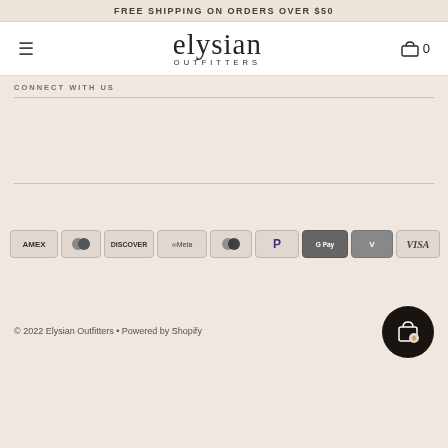FREE SHIPPING ON ORDERS OVER $50
[Figure (logo): Elysian Outfitters logo with hamburger menu and cart icon showing 0 items]
CONNECT WITH US
[Figure (infographic): Payment method icons: AMEX, Diners Club, Discover, Meta Pay, Mastercard, PayPal, G Pay, Venmo, Visa]
© 2022 Elysian Outfitters • Powered by Shopify